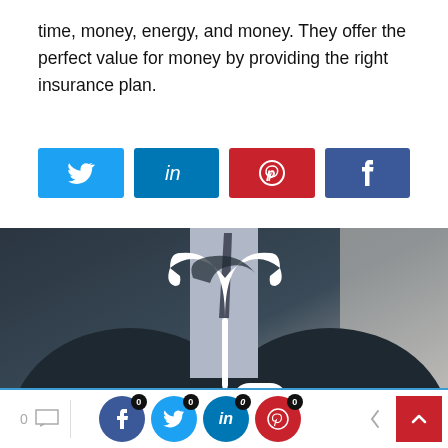time, money, energy, and money. They offer the perfect value for money by providing the right insurance plan.
[Figure (screenshot): Four social media share buttons: Twitter (light blue), LinkedIn (dark blue), Pinterest (red), Facebook (dark blue)]
[Figure (photo): A businessman in a dark suit holding white paper cutouts of an umbrella and a car, symbolizing insurance coverage]
[Figure (screenshot): Bottom social sharing bar with comment count (0), and share buttons for Facebook, Twitter, LinkedIn, Pinterest with badge counts of 0, plus navigation arrows]